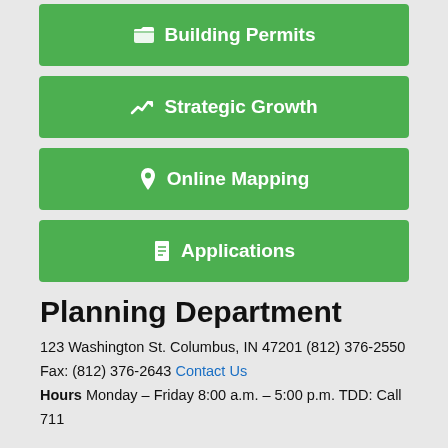Building Permits
Strategic Growth
Online Mapping
Applications
Planning Department
123 Washington St. Columbus, IN 47201 (812) 376-2550 Fax: (812) 376-2643 Contact Us
Hours Monday – Friday 8:00 a.m. – 5:00 p.m. TDD: Call 711